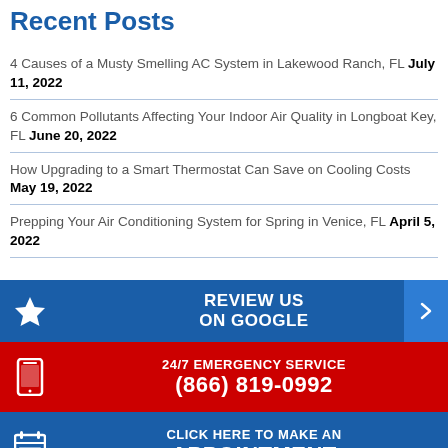Recent Posts
4 Causes of a Musty Smelling AC System in Lakewood Ranch, FL July 11, 2022
6 Common Pollutants Affecting Your Indoor Air Quality in Longboat Key, FL June 20, 2022
How Upgrading to a Smart Thermostat Can Save on Cooling Costs May 19, 2022
Prepping Your Air Conditioning System for Spring in Venice, FL April 5, 2022
REVIEW US ON GOOGLE
24/7 EMERGENCY SERVICE (866) 819-0992
CLICK HERE TO MAKE AN APPOINTMENT